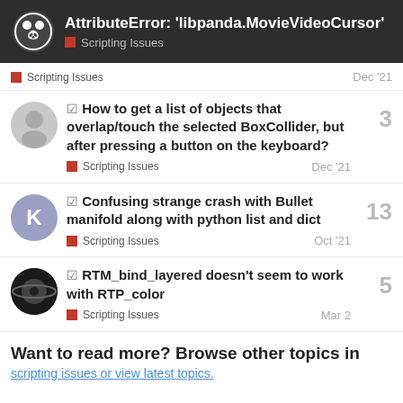AttributeError: 'libpanda.MovieVideoCursor' — Scripting Issues
Scripting Issues — Dec '21
☑ How to get a list of objects that overlap/touch the selected BoxCollider, but after pressing a button on the keyboard?
Scripting Issues — Dec '21 — 3 replies
☑ Confusing strange crash with Bullet manifold along with python list and dict
Scripting Issues — Oct '21 — 13 replies
☑ RTM_bind_layered doesn't seem to work with RTP_color
Scripting Issues — Mar 2 — 5 replies
Want to read more? Browse other topics in